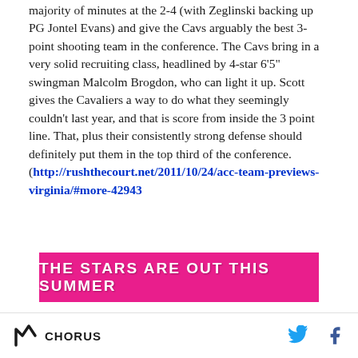they, along with senior Danny Zeglinski, will see the majority of minutes at the 2-4 (with Zeglinski backing up PG Jontel Evans) and give the Cavs arguably the best 3-point shooting team in the conference. The Cavs bring in a very solid recruiting class, headlined by 4-star 6'5" swingman Malcolm Brogdon, who can light it up. Scott gives the Cavaliers a way to do what they seemingly couldn't last year, and that is score from inside the 3 point line. That, plus their consistently strong defense should definitely put them in the top third of the conference. (http://rushthecourt.net/2011/10/24/acc-team-previews-virginia/#more-42943
[Figure (other): Pink/magenta advertisement banner with white bold uppercase text reading 'THE STARS ARE OUT THIS SUMMER']
CHORUS